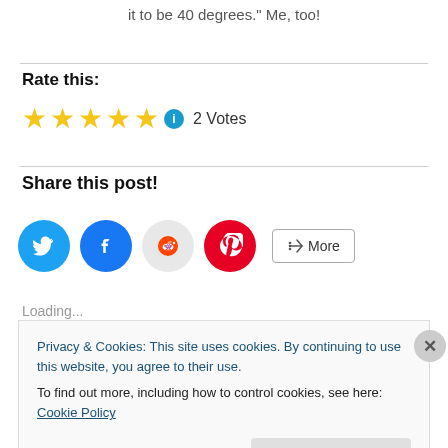it to be 40 degrees." Me, too!
Rate this:
[Figure (other): Five gold star rating icons followed by a blue info circle and '2 Votes' text]
Share this post!
[Figure (other): Social share buttons: Twitter (blue bird), Facebook (blue f), Reddit (grey alien), Pinterest (red p), and a More button with share icon]
Loading...
Privacy & Cookies: This site uses cookies. By continuing to use this website, you agree to their use.
To find out more, including how to control cookies, see here: Cookie Policy
Close and accept